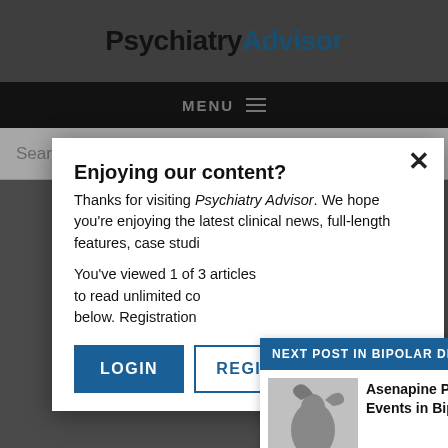PsychiatryAdvisor
MENU
Search...
Enjoying our content?
Thanks for visiting Psychiatry Advisor. We hope you're enjoying the latest clinical news, full-length features, case studi...
You've viewed 1 of ... to read unlimited co... below. Registration...
LOGIN
REGISTER
NEXT POST IN BIPOLAR DISORDER
Asenapine Prevents Re... Events in Bipolar Disord...